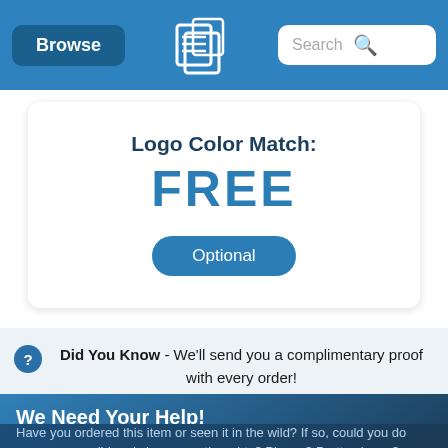Browse | [Logo] | Search
Logo Color Match:
FREE
Optional
Did You Know - We'll send you a complimentary proof with every order!
We Need Your Help!
Have you ordered this item or seen it in the wild? If so, could you do everyone a solid and share your thoughts? Please? Pretty please?